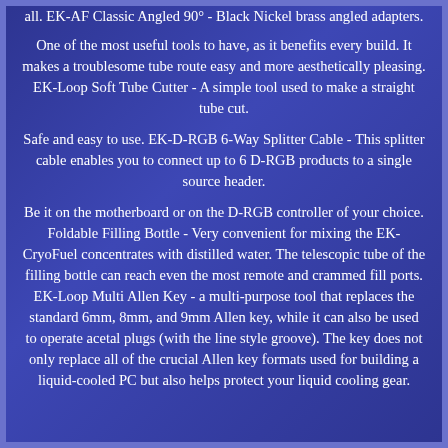all. EK-AF Classic Angled 90° - Black Nickel brass angled adapters.
One of the most useful tools to have, as it benefits every build. It makes a troublesome tube route easy and more aesthetically pleasing. EK-Loop Soft Tube Cutter - A simple tool used to make a straight tube cut.
Safe and easy to use. EK-D-RGB 6-Way Splitter Cable - This splitter cable enables you to connect up to 6 D-RGB products to a single source header.
Be it on the motherboard or on the D-RGB controller of your choice. Foldable Filling Bottle - Very convenient for mixing the EK-CryoFuel concentrates with distilled water. The telescopic tube of the filling bottle can reach even the most remote and crammed fill ports. EK-Loop Multi Allen Key - a multi-purpose tool that replaces the standard 6mm, 8mm, and 9mm Allen key, while it can also be used to operate acetal plugs (with the line style groove). The key does not only replace all of the crucial Allen key formats used for building a liquid-cooled PC but also helps protect your liquid cooling gear.